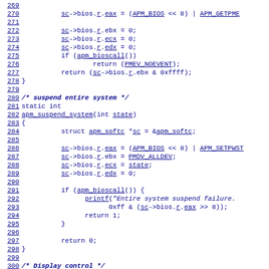Source code listing lines 269-300, C programming language, APM BIOS suspend/power management functions